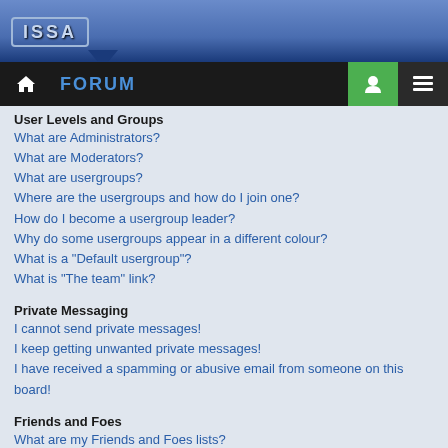ISSA FORUM
User Levels and Groups
What are Administrators?
What are Moderators?
What are usergroups?
Where are the usergroups and how do I join one?
How do I become a usergroup leader?
Why do some usergroups appear in a different colour?
What is a "Default usergroup"?
What is “The team” link?
Private Messaging
I cannot send private messages!
I keep getting unwanted private messages!
I have received a spamming or abusive email from someone on this board!
Friends and Foes
What are my Friends and Foes lists?
How can I add / remove users to my Friends or Foes list?
Searching the Forums
How can I search a forum or forums?
Why does my search return no results?
Why does my search return a blank page!?
How do I search for members?